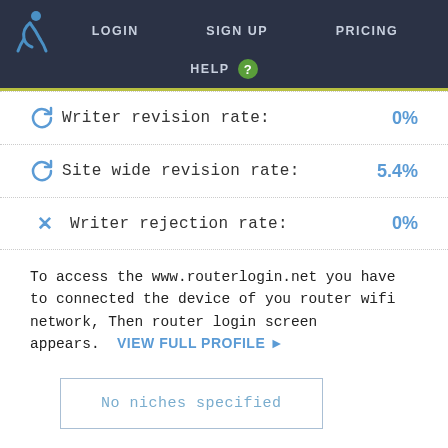LOGIN  SIGN UP  PRICING  HELP ?
Writer revision rate: 0%
Site wide revision rate: 5.4%
Writer rejection rate: 0%
To access the www.routerlogin.net you have to connected the device of you router wifi network, Then router login screen appears. VIEW FULL PROFILE ▶
No niches specified
nighthawkroutersetup
Location: AK